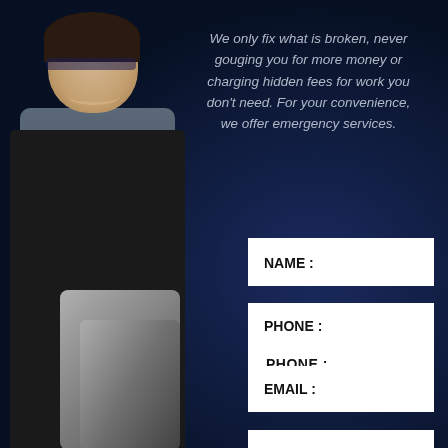[Figure (photo): Smiling mechanic in black apron holding wrenches, standing against dark blue background with tools]
We only fix what is broken, never gouging you for more money or charging hidden fees for work you don't need. For your convenience, we offer emergency services.
NAME :
PHONE :
EMAIL :
YOUR MESSAGE :